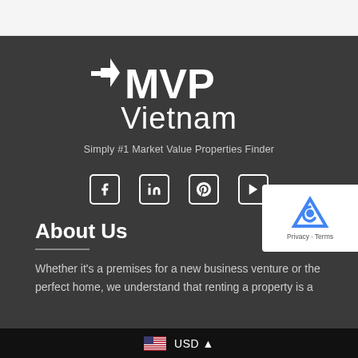[Figure (logo): MVP Vietnam logo with arrow icon and text 'MVP Vietnam']
Simply #1 Market Value Properties Finder
[Figure (other): Social media icons: Facebook, LinkedIn, Pinterest, YouTube]
About Us
Whether it's a premises for a new business venture or the perfect home, we understand that renting a property is a
USD ▲